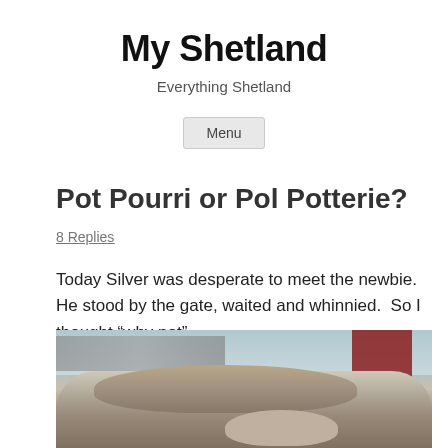My Shetland
Everything Shetland
Menu
Pot Pourri or Pol Potterie?
8 Replies
Today Silver was desperate to meet the newbie.  He stood by the gate, waited and whinnied.  So I thought “why not”.
[Figure (photo): Close-up photo of a Shetland pony with shaggy mane, with a stone wall and red fence in the background]